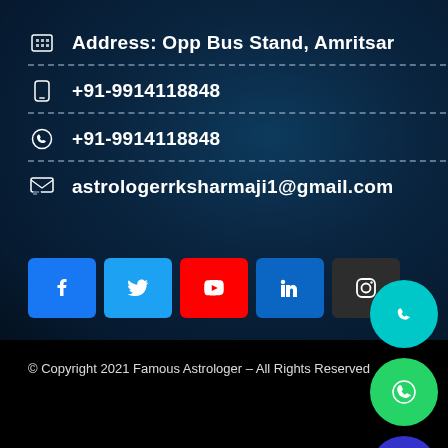Address: Opp Bus Stand, Amritsar
+91-9914118848
+91-9914118848
astrologerrksharmaji1@gmail.com
[Figure (infographic): Social media icons: Facebook, Twitter, YouTube, LinkedIn, Instagram buttons and floating action buttons for phone, WhatsApp, email, and close]
© Copyright 2021 Famous Astrologer – All Rights Reserved